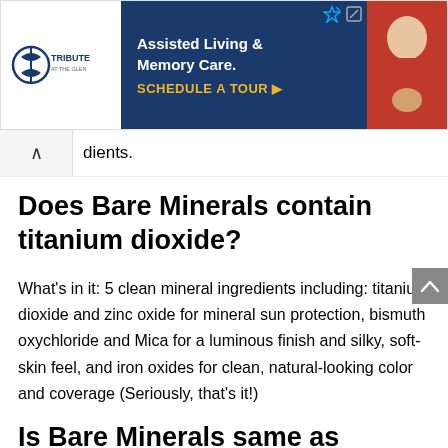[Figure (other): Advertisement banner for Tribute at the Glen Assisted Living & Memory Care with a Schedule a Tour call-to-action button]
dients.
Does Bare Minerals contain titanium dioxide?
What's in it: 5 clean mineral ingredients including: titanium dioxide and zinc oxide for mineral sun protection, bismuth oxychloride and Mica for a luminous finish and silky, soft-skin feel, and iron oxides for clean, natural-looking color and coverage (Seriously, that's it!)
Is Bare Minerals same as